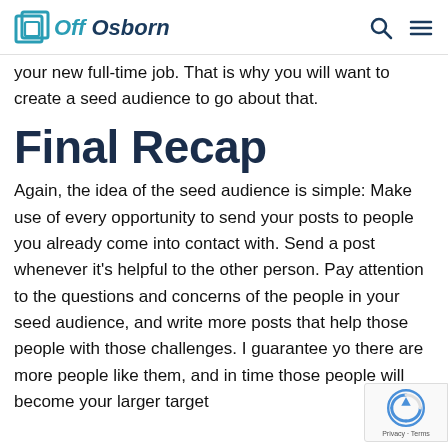Off Osborn
your new full-time job. That is why you will want to create a seed audience to go about that.
Final Recap
Again, the idea of the seed audience is simple: Make use of every opportunity to send your posts to people you already come into contact with. Send a post whenever it’s helpful to the other person. Pay attention to the questions and concerns of the people in your seed audience, and write more posts that help those people with those challenges. I guarantee yo there are more people like them, and in time those people will become your larger target